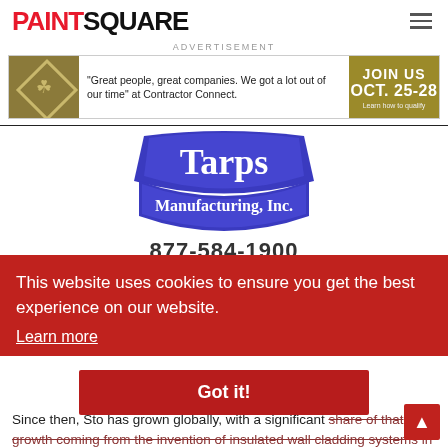PAINTSQUARE
ADVERTISEMENT
[Figure (illustration): Advertisement banner: diamond logo with swirl, quote text 'Great people, great companies. We got a lot out of our time' at Contractor Connect. JOIN US OCT. 25-28 Learn how to qualify]
[Figure (logo): Tarps Manufacturing, Inc. logo — blue shield shape with white serif text reading Tarps Manufacturing, Inc.]
877-584-1900
This website uses cookies to ensure you get the best experience on our website.
Learn more
Since then, Sto has grown globally, with a significant share of that growth coming from the invention of insulated wall cladding systems in the 1960s. The company has grown through innovation and acquisition to be a major worldwide player in making buildings of all
Got it!